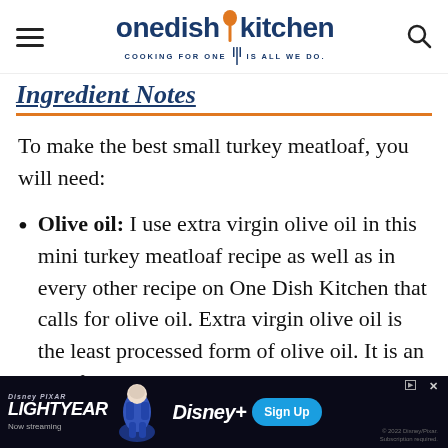one dish kitchen — COOKING FOR ONE | IS ALL WE DO.
Ingredient Notes
To make the best small turkey meatloaf, you will need:
Olive oil: I use extra virgin olive oil in this mini turkey meatloaf recipe as well as in every other recipe on One Dish Kitchen that calls for olive oil. Extra virgin olive oil is the least processed form of olive oil. It is an unrefined oil and
[Figure (screenshot): Disney Pixar Lightyear advertisement banner — Now streaming on Disney+, Sign Up button]